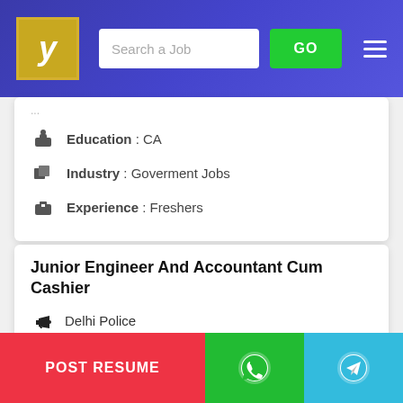[Figure (screenshot): Job portal website header with logo, search bar, GO button, and hamburger menu on blue gradient background]
Education : CA
Industry : Goverment Jobs
Experience : Freshers
Junior Engineer And Accountant Cum Cashier
Delhi Police
Location : Delhi
Education : B.E. / B.Tech , ICWA , M.Com
POST RESUME